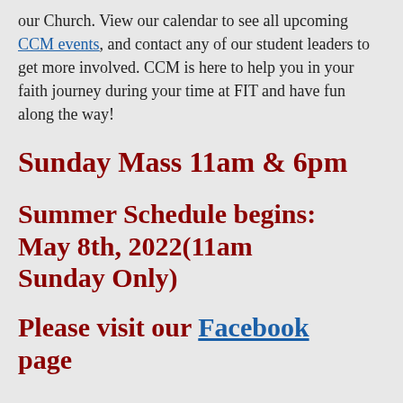our Church. View our calendar to see all upcoming CCM events, and contact any of our student leaders to get more involved. CCM is here to help you in your faith journey during your time at FIT and have fun along the way!
Sunday Mass 11am & 6pm
Summer Schedule begins: May 8th, 2022(11am Sunday Only)
Please visit our Facebook page